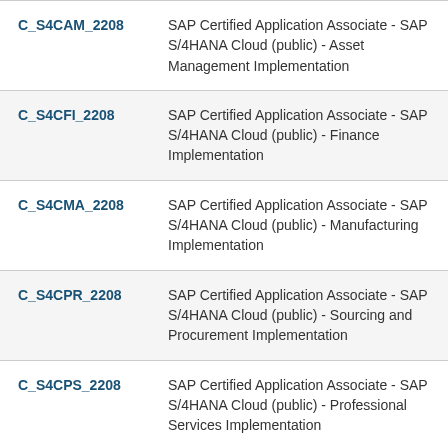| Code | Description |
| --- | --- |
| C_S4CAM_2208 | SAP Certified Application Associate - SAP S/4HANA Cloud (public) - Asset Management Implementation |
| C_S4CFI_2208 | SAP Certified Application Associate - SAP S/4HANA Cloud (public) - Finance Implementation |
| C_S4CMA_2208 | SAP Certified Application Associate - SAP S/4HANA Cloud (public) - Manufacturing Implementation |
| C_S4CPR_2208 | SAP Certified Application Associate - SAP S/4HANA Cloud (public) - Sourcing and Procurement Implementation |
| C_S4CPS_2208 | SAP Certified Application Associate - SAP S/4HANA Cloud (public) - Professional Services Implementation |
| C_S4CS_2208 | SAP Certified Application Associate - SAP S/4HANA Cloud (public) - Sales Implementation |